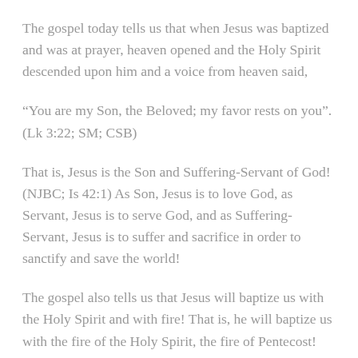The gospel today tells us that when Jesus was baptized and was at prayer, heaven opened and the Holy Spirit descended upon him and a voice from heaven said,
“You are my Son, the Beloved; my favor rests on you”. (Lk 3:22; SM; CSB)
That is, Jesus is the Son and Suffering-Servant of God! (NJBC; Is 42:1) As Son, Jesus is to love God, as Servant, Jesus is to serve God, and as Suffering-Servant, Jesus is to suffer and sacrifice in order to sanctify and save the world!
The gospel also tells us that Jesus will baptize us with the Holy Spirit and with fire! That is, he will baptize us with the fire of the Holy Spirit, the fire of Pentecost! (Acts 2) The fire of God’s love! The fire of God’s love will burn away our sins and make us into sons and servants of God! As sons of God we will love God and neighbor, as servants of God, we